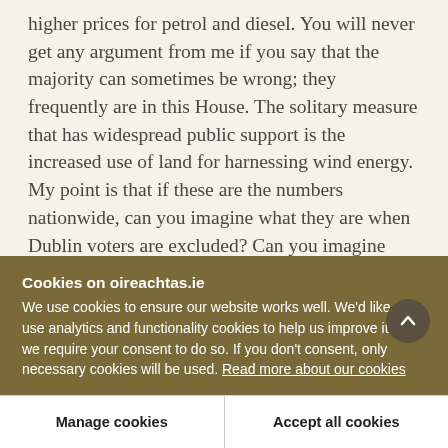higher prices for petrol and diesel. You will never get any argument from me if you say that the majority can sometimes be wrong; they frequently are in this House. The solitary measure that has widespread public support is the increased use of land for harnessing wind energy. My point is that if these are the numbers nationwide, can you imagine what they are when Dublin voters are excluded? Can you imagine what the figures would be specifically among voters in the midlands and west, the places
Cookies on oireachtas.ie
We use cookies to ensure our website works well. We'd like to use analytics and functionality cookies to help us improve it but we require your consent to do so. If you don't consent, only necessary cookies will be used. Read more about our cookies
Manage cookies
Accept all cookies